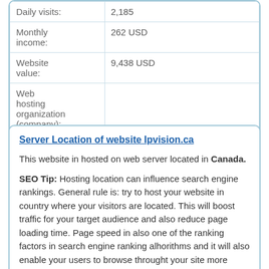| Daily visits: | 2,185 |
| Monthly income: | 262 USD |
| Website value: | 9,438 USD |
| Web hosting organization (company): |  |
Server Location of website Ipvision.ca
This website in hosted on web server located in Canada.
SEO Tip: Hosting location can influence search engine rankings. General rule is: try to host your website in country where your visitors are located. This will boost traffic for your target audience and also reduce page loading time. Page speed in also one of the ranking factors in search engine ranking alhorithms and it will also enable your users to browse throught your site more easily. If website loads fast visitors will generally spend more time on it, look at more pages and buy more products on it.